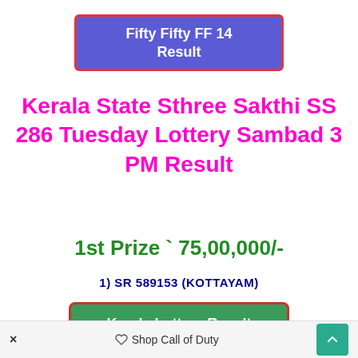Fifty Fifty FF 14 Result
Kerala State Sthree Sakthi SS 286 Tuesday Lottery Sambad 3 PM Result
1st Prize ` 75,00,000/-
1) SR 589153 (KOTTAYAM)
Kerala Lottery Result
× Shop Call of Duty